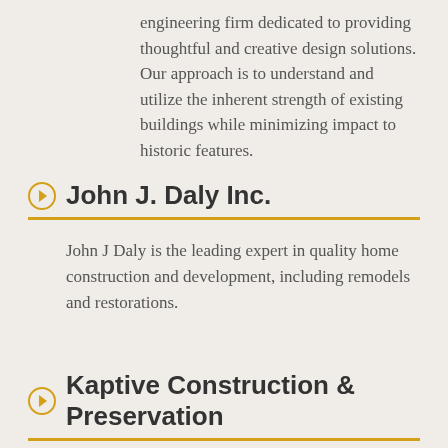engineering firm dedicated to providing thoughtful and creative design solutions. Our approach is to understand and utilize the inherent strength of existing buildings while minimizing impact to historic features.
John J. Daly Inc.
John J Daly is the leading expert in quality home construction and development, including remodels and restorations.
Kaptive Construction & Preservation